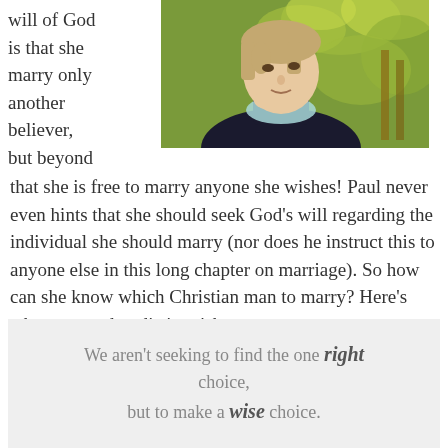will of God is that she marry only another believer, but beyond that she is free to marry anyone she wishes! Paul never even hints that she should seek God's will regarding the individual she should marry (nor does he instruct this to anyone else in this long chapter on marriage). So how can she know which Christian man to marry? Here's what we need to distinguish:
[Figure (photo): A woman with short blonde-brown hair wearing a dark turtleneck sweater with a light blue collar, photographed outdoors with autumn foliage in the background, looking upward thoughtfully with her hand near her chin.]
We aren't seeking to find the one right choice, but to make a wise choice.